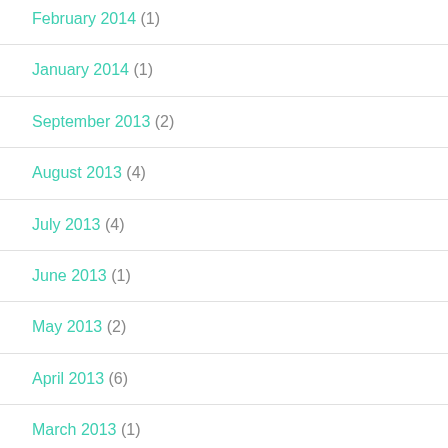February 2014 (1)
January 2014 (1)
September 2013 (2)
August 2013 (4)
July 2013 (4)
June 2013 (1)
May 2013 (2)
April 2013 (6)
March 2013 (1)